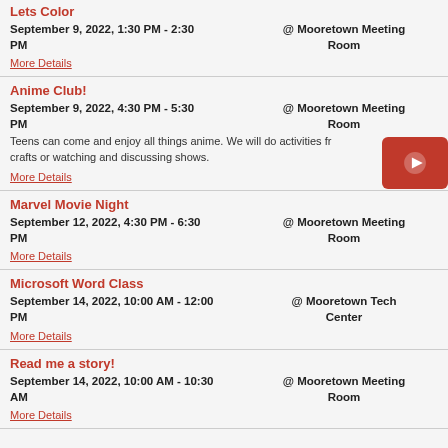Lets Color
September 9, 2022, 1:30 PM - 2:30 PM	@ Mooretown Meeting Room
More Details
Anime Club!
September 9, 2022, 4:30 PM - 5:30 PM	@ Mooretown Meeting Room
Teens can come and enjoy all things anime. We will do activities from crafts or watching and discussing shows.
More Details
Marvel Movie Night
September 12, 2022, 4:30 PM - 6:30 PM	@ Mooretown Meeting Room
More Details
Microsoft Word Class
September 14, 2022, 10:00 AM - 12:00 PM	@ Mooretown Tech Center
More Details
Read me a story!
September 14, 2022, 10:00 AM - 10:30 AM	@ Mooretown Meeting Room
More Details